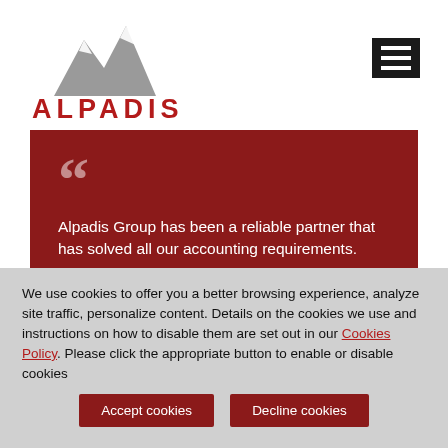[Figure (logo): Alpadis Group logo — mountain peak icon in grey above red text 'ALPADIS' in spaced capitals]
[Figure (other): Hamburger/menu icon — dark square with three white horizontal lines]
Alpadis Group has been a reliable partner that has solved all our accounting requirements.
We use cookies to offer you a better browsing experience, analyze site traffic, personalize content. Details on the cookies we use and instructions on how to disable them are set out in our Cookies Policy. Please click the appropriate button to enable or disable cookies
Accept cookies
Decline cookies